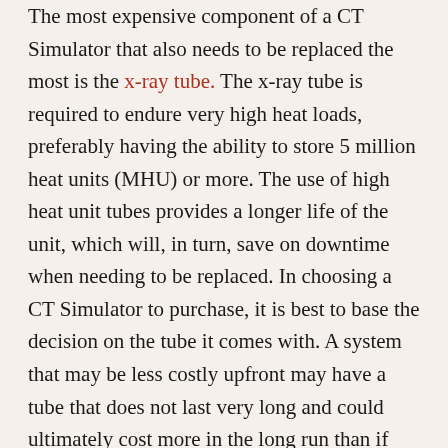The most expensive component of a CT Simulator that also needs to be replaced the most is the x-ray tube. The x-ray tube is required to endure very high heat loads, preferably having the ability to store 5 million heat units (MHU) or more. The use of high heat unit tubes provides a longer life of the unit, which will, in turn, save on downtime when needing to be replaced. In choosing a CT Simulator to purchase, it is best to base the decision on the tube it comes with. A system that may be less costly upfront may have a tube that does not last very long and could ultimately cost more in the long run than if initially purchased with a better tube, to begin with.